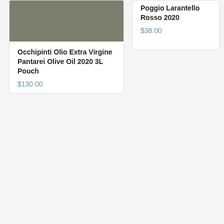[Figure (photo): Gray/olive colored product image placeholder for olive oil product card]
Occhipinti Olio Extra Virgine Pantarei Olive Oil 2020 3L Pouch
$130.00
Poggio Larantello (truncated) Rosso 2020
$38.00